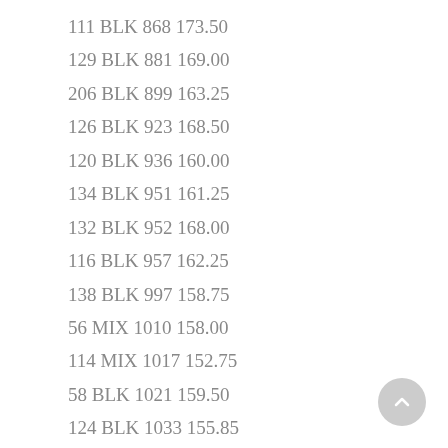111 BLK 868 173.50
129 BLK 881 169.00
206 BLK 899 163.25
126 BLK 923 168.50
120 BLK 936 160.00
134 BLK 951 161.25
132 BLK 952 168.00
116 BLK 957 162.25
138 BLK 997 158.75
56 MIX 1010 158.00
114 MIX 1017 152.75
58 BLK 1021 159.50
124 BLK 1033 155.85
216 CHAR 1056 159.75
56 BLK 1058 155.85
66 BLK 1064 155.00